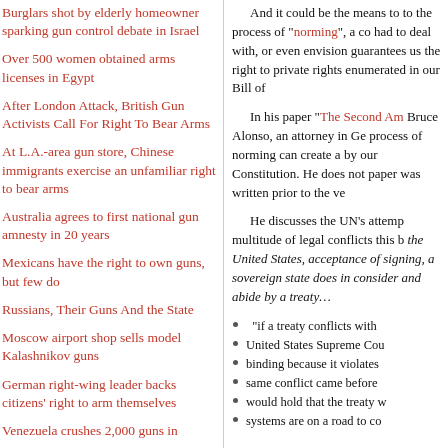Burglars shot by elderly homeowner sparking gun control debate in Israel
Over 500 women obtained arms licenses in Egypt
After London Attack, British Gun Activists Call For Right To Bear Arms
At L.A.-area gun store, Chinese immigrants exercise an unfamiliar right to bear arms
Australia agrees to first national gun amnesty in 20 years
Mexicans have the right to own guns, but few do
Russians, Their Guns And the State
Moscow airport shop sells model Kalashnikov guns
German right-wing leader backs citizens' right to arm themselves
Venezuela crushes 2,000 guns in
And it could be the means to to the process of “norming”, a co had to deal with, or even envision guarantees us the right to private rights enumerated in our Bill of
In his paper “The Second Am Bruce Alonso, an attorney in Ge process of norming can create a by our Constitution. He does no paper was written prior to the ve
He discusses the UN’s attemp multitude of legal conflicts this b the United States, acceptance of signing, a sovereign state does in consider and abide by a treaty…
“if a treaty conflicts with United States Supreme Cou binding because it violates same conflict came before would hold that the treaty w systems are on a road to co